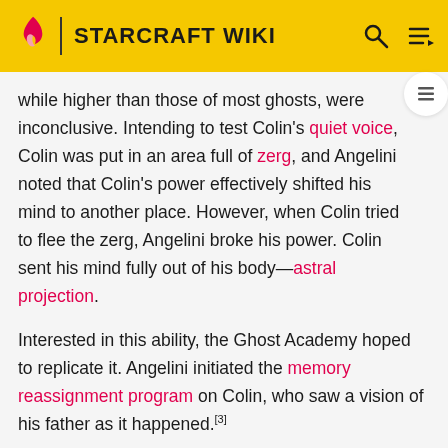STARCRAFT WIKI
while higher than those of most ghosts, were inconclusive. Intending to test Colin's quiet voice, Colin was put in an area full of zerg, and Angelini noted that Colin's power effectively shifted his mind to another place. However, when Colin tried to flee the zerg, Angelini broke his power. Colin sent his mind fully out of his body—astral projection.
Interested in this ability, the Ghost Academy hoped to replicate it. Angelini initiated the memory reassignment program on Colin, who saw a vision of his father as it happened.[3]
Testing
Colin Phash was subjected to tests by Dr. Gauthier. When